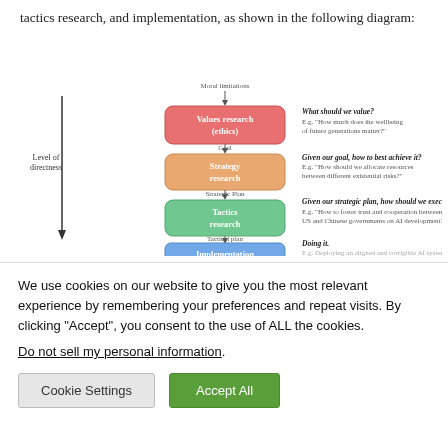tactics research, and implementation, as shown in the following diagram:
[Figure (flowchart): Flowchart showing hierarchy: Moral limitations → Values research (ethics) → [Goal] → Strategy research → [Strategic Plan] → Tactics research → [Tactical plan] → Implementation. Left side shows downward arrow labeled 'Level of directness'. Right side shows questions: 'What should we value?', 'Given our goal, how to best achieve it?', 'Given our strategic plan, how should we execute it?', 'Doing it.']
We use cookies on our website to give you the most relevant experience by remembering your preferences and repeat visits. By clicking "Accept", you consent to the use of ALL the cookies.
Do not sell my personal information.
Cookie Settings
Accept All